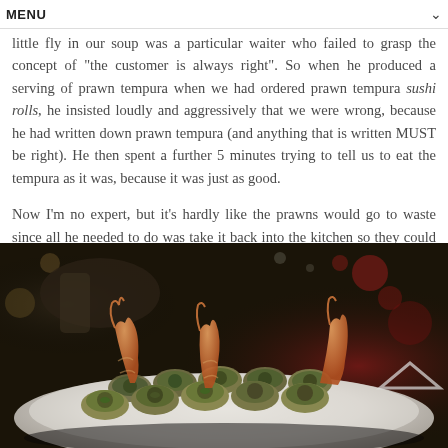MENU
little fly in our soup was a particular waiter who failed to grasp the concept of "the customer is always right". So when he produced a serving of prawn tempura when we had ordered prawn tempura sushi rolls, he insisted loudly and aggressively that we were wrong, because he had written down prawn tempura (and anything that is written MUST be right). He then spent a further 5 minutes trying to tell us to eat the tempura as it was, because it was just as good.
Now I'm no expert, but it's hardly like the prawns would go to waste since all he needed to do was take it back into the kitchen so they could bung them into a sushi roll and charge us for the inconvenience. Customer service fail, big time. The rolls were pretty damn good, thankfully.
[Figure (photo): A plate of prawn tempura sushi rolls on a white plate, photographed in a dimly lit restaurant setting with bokeh background lighting.]